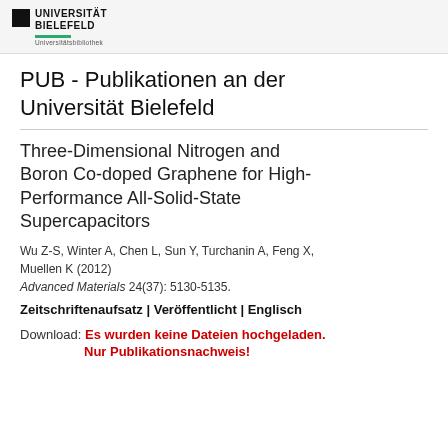UNIVERSITÄT BIELEFELD — Universitätsbibliothek
PUB - Publikationen an der Universität Bielefeld
Three-Dimensional Nitrogen and Boron Co-doped Graphene for High-Performance All-Solid-State Supercapacitors
Wu Z-S, Winter A, Chen L, Sun Y, Turchanin A, Feng X, Muellen K (2012)
Advanced Materials 24(37): 5130-5135.
Zeitschriftenaufsatz | Veröffentlicht | Englisch
Download: Es wurden keine Dateien hochgeladen. Nur Publikationsnachweis!